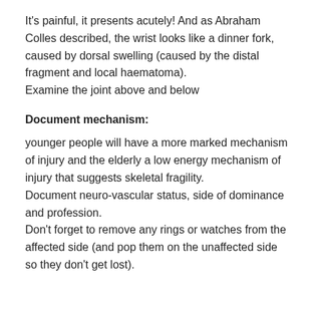It's painful, it presents acutely! And as Abraham Colles described, the wrist looks like a dinner fork, caused by dorsal swelling (caused by the distal fragment and local haematoma).
Examine the joint above and below
Document mechanism:
younger people will have a more marked mechanism of injury and the elderly a low energy mechanism of injury that suggests skeletal fragility.
Document neuro-vascular status, side of dominance and profession.
Don't forget to remove any rings or watches from the affected side (and pop them on the unaffected side so they don't get lost).